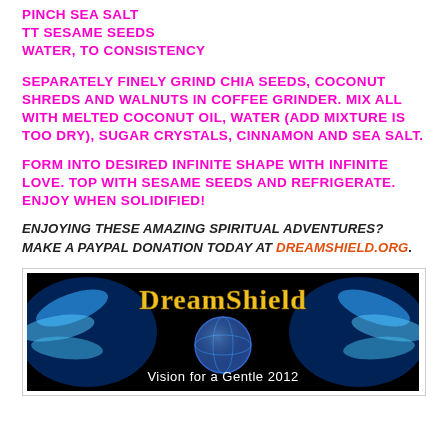PINCH SEA SALT
TT SESAME SEEDS
WATER, TO CONSISTENCY
SEPARATELY FINELY GRIND CHIA SEEDS, COCONUT SHREDS AND WALNUTS IN COFFEE GRINDER. MIX ALL WITH MELTED COCONUT OIL, WATER (ADD MIXTURE IS TOO DRY), SUGAR CRYSTALS, CINNAMON AND SEA SALT.
FORM INTO DESIRED INFINITE SHAPE WITH INFINITE LOVE. TOP WITH SESAME SEEDS AND REFRIGERATE. ENJOY WHEN SOLIDIFIED!
ENJOYING THESE AMAZING SPIRITUAL ADVENTURES?  MAKE A PAYPAL DONATION TODAY AT DREAMSHIELD.ORG.
[Figure (illustration): DreamShield banner image with wings and globe, text reads 'DreamShield Vision for a Gentle 2012']